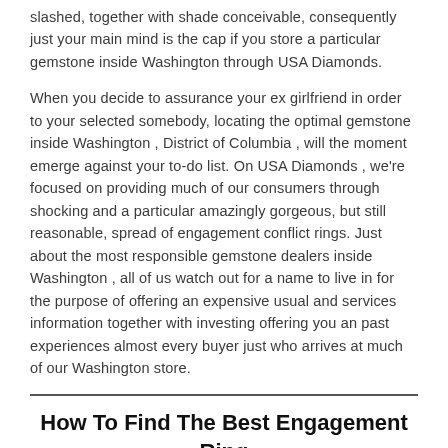slashed, together with shade conceivable, consequently just your main mind is the cap if you store a particular gemstone inside Washington through USA Diamonds.
When you decide to assurance your ex girlfriend in order to your selected somebody, locating the optimal gemstone inside Washington , District of Columbia , will the moment emerge against your to-do list. On USA Diamonds , we're focused on providing much of our consumers through shocking and a particular amazingly gorgeous, but still reasonable, spread of engagement conflict rings. Just about the most responsible gemstone dealers inside Washington , all of us watch out for a name to live in for the purpose of offering an expensive usual and services information together with investing offering you an past experiences almost every buyer just who arrives at much of our Washington store.
How To Find The Best Engagement Ring In Washington?